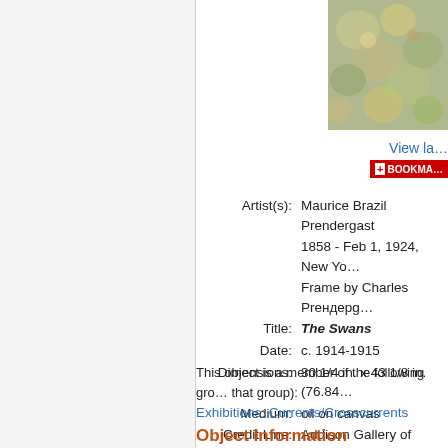[Figure (photo): Detail of a painting showing textured brushwork with muted greens, yellows, and browns — likely The Swans by Maurice Brazil Prendergast]
View la…
+ BOOKMA…
| Artist(s): | Maurice Brazil Prendergast |
|  | 1858 - Feb 1, 1924, New Yo… |
|  | Frame by Charles Prендерg… |
| Title: | The Swans |
| Date: | c. 1914-1915 |
| Dimensions: | 30 1/4 in. x 43 1/8 in. (76.84… |
| Medium: | oil on canvas |
| Credit Line: | Addison Gallery of American… |
|  | of Lizzie P. Bliss, 1931.95 |
This object is a member of the following gro… that group):
Exhibitions: Currents/Crosscurrents
Object Information
Maurice Prendergast's life coincided with an…